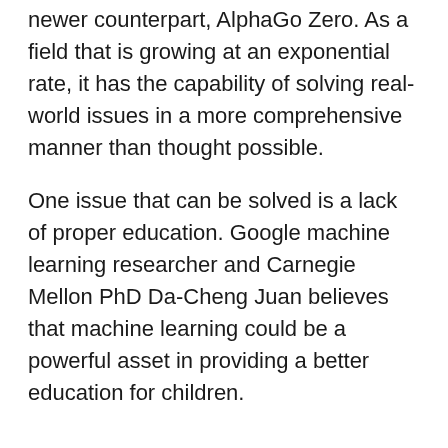newer counterpart, AlphaGo Zero. As a field that is growing at an exponential rate, it has the capability of solving real-world issues in a more comprehensive manner than thought possible.
One issue that can be solved is a lack of proper education. Google machine learning researcher and Carnegie Mellon PhD Da-Cheng Juan believes that machine learning could be a powerful asset in providing a better education for children.